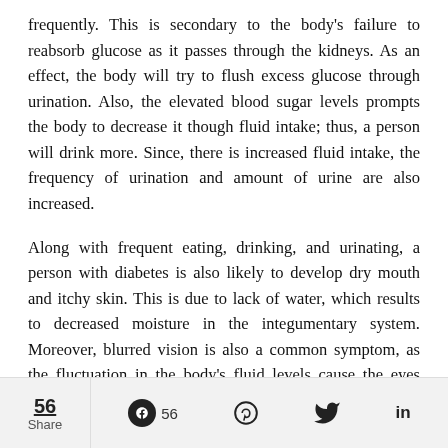frequently. This is secondary to the body's failure to reabsorb glucose as it passes through the kidneys. As an effect, the body will try to flush excess glucose through urination. Also, the elevated blood sugar levels prompts the body to decrease it though fluid intake; thus, a person will drink more. Since, there is increased fluid intake, the frequency of urination and amount of urine are also increased.
Along with frequent eating, drinking, and urinating, a person with diabetes is also likely to develop dry mouth and itchy skin. This is due to lack of water, which results to decreased moisture in the integumentary system. Moreover, blurred vision is also a common symptom, as the fluctuation in the body's fluid levels cause the eyes lenses to swell, change
56  Share   56   [Pinterest]   [Twitter]   in